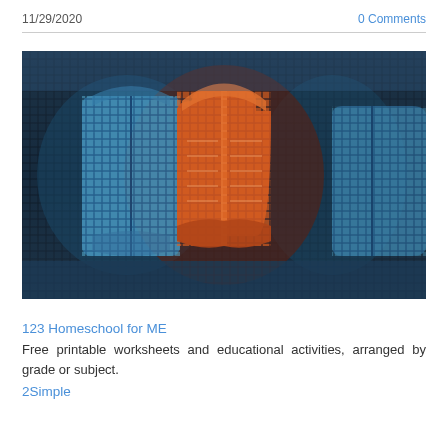11/29/2020    0 Comments
[Figure (photo): Digital screen showing glowing book icons made of LED-style pixel grid, with an orange open book icon in the center and blue book outlines on either side, on a dark background]
123 Homeschool for ME
Free printable worksheets and educational activities, arranged by grade or subject.
2Simple